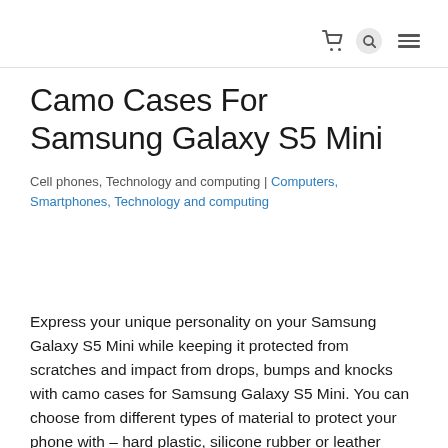Camo Cases For Samsung Galaxy S5 Mini
Cell phones, Technology and computing | Computers, Smartphones, Technology and computing
Express your unique personality on your Samsung Galaxy S5 Mini while keeping it protected from scratches and impact from drops, bumps and knocks with camo cases for Samsung Galaxy S5 Mini. You can choose from different types of material to protect your phone with – hard plastic, silicone rubber or leather